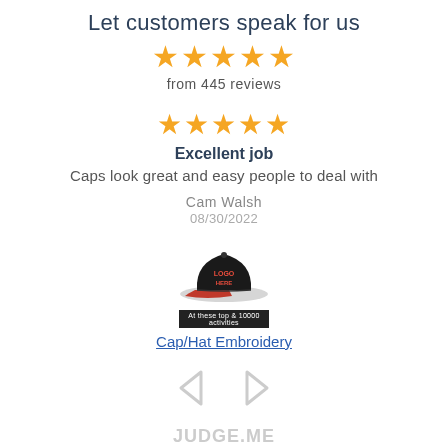Let customers speak for us
[Figure (other): 5 gold stars rating]
from 445 reviews
[Figure (other): 5 gold stars rating for individual review]
Excellent job
Caps look great and easy people to deal with
Cam Walsh
08/30/2022
[Figure (photo): Black cap with red embroidery logo and a small product label bar below]
Cap/Hat Embroidery
[Figure (other): Left and right navigation arrows]
[Figure (logo): Judge.me logo at bottom]